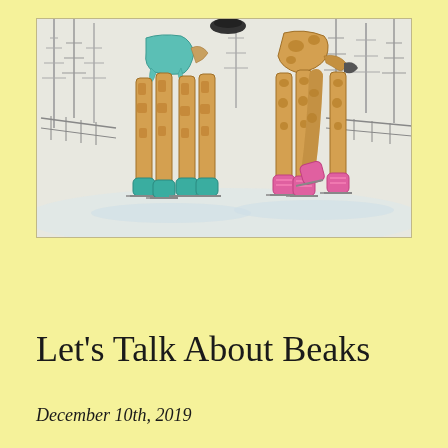[Figure (illustration): Hand-drawn illustration of two giraffes ice skating on a rink. The left giraffe wears a teal/green top and teal ice skate boots on all four legs. The right giraffe wears pink boots/skates. Both giraffes are shown from roughly the mid-body down, with long spotted legs. The background shows a winter scene with bare trees sketched in gray pencil.]
Let’s Talk About Beaks
December 10th, 2019